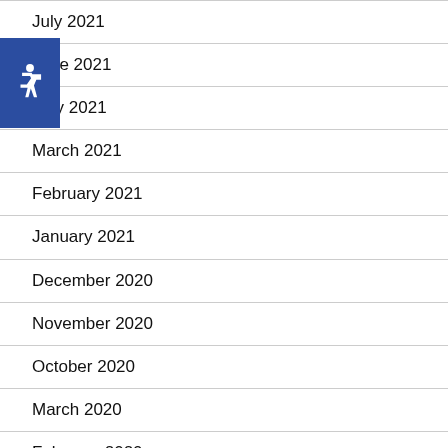July 2021
June 2021
May 2021
March 2021
February 2021
January 2021
December 2020
November 2020
October 2020
March 2020
February 2020